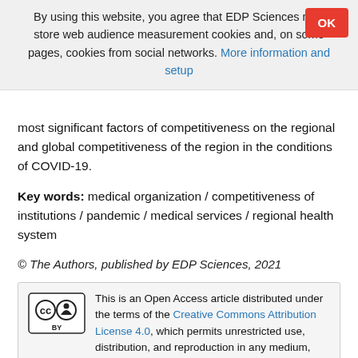By using this website, you agree that EDP Sciences may store web audience measurement cookies and, on some pages, cookies from social networks. More information and setup
most significant factors of competitiveness on the regional and global competitiveness of the region in the conditions of COVID-19.
Key words: medical organization / competitiveness of institutions / pandemic / medical services / regional health system
© The Authors, published by EDP Sciences, 2021
This is an Open Access article distributed under the terms of the Creative Commons Attribution License 4.0, which permits unrestricted use, distribution, and reproduction in any medium, provided the original work is properly cited.